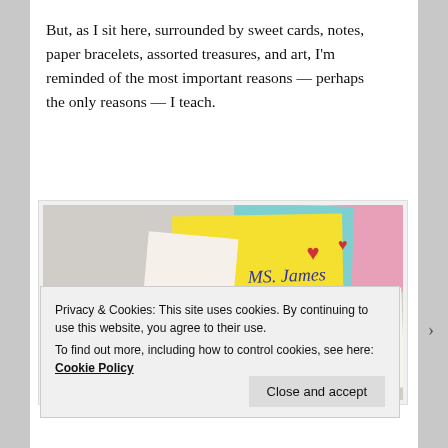But, as I sit here, surrounded by sweet cards, notes, paper bracelets, assorted treasures, and art, I'm reminded of the most important reasons — perhaps the only reasons — I teach.
[Figure (photo): A photo of children's handwritten cards, notes and artwork addressed to 'Ms. James', including a yellow card, white envelopes, and a note reading 'Dear Ms. James I can't wait to see you in person love Ms. James']
Privacy & Cookies: This site uses cookies. By continuing to use this website, you agree to their use.
To find out more, including how to control cookies, see here: Cookie Policy